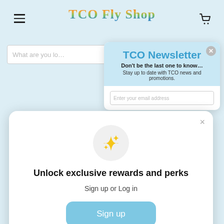[Figure (screenshot): TCO Fly Shop website background with hamburger menu, logo, cart icon, and search bar]
[Figure (screenshot): TCO Newsletter popup with light blue header showing 'TCO Newsletter', 'Don't be the last one to know...', 'Stay up to date with TCO news and promotions.' and email input field]
[Figure (screenshot): Rewards popup modal with sparkle icon, 'Unlock exclusive rewards and perks' heading, 'Sign up or Log in' subtext, 'Sign up' button, and 'Already have an account? Sign in' link]